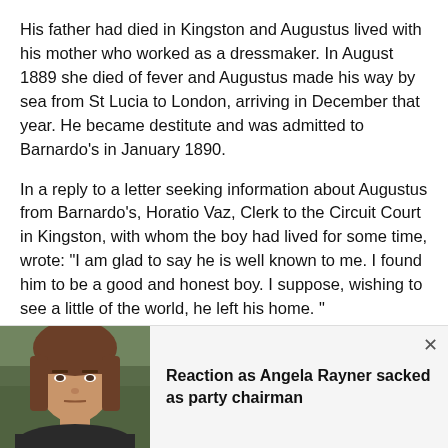His father had died in Kingston and Augustus lived with his mother who worked as a dressmaker. In August 1889 she died of fever and Augustus made his way by sea from St Lucia to London, arriving in December that year. He became destitute and was admitted to Barnardo’s in January 1890.
In a reply to a letter seeking information about Augustus from Barnardo’s, Horatio Vaz, Clerk to the Circuit Court in Kingston, with whom the boy had lived for some time, wrote: “I am glad to say he is well known to me. I found him to be a good and honest boy. I suppose, wishing to see a little of the world, he left his home.”
[Figure (photo): Photo of Angela Rayner, a woman with brown hair and bangs, looking serious, outdoors with blurred green background.]
Reaction as Angela Rayner sacked as party chairman